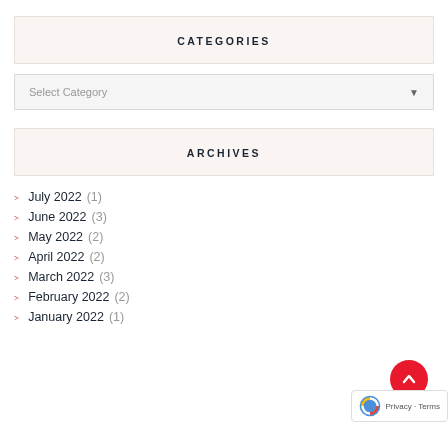CATEGORIES
Select Category
ARCHIVES
July 2022 (1)
June 2022 (3)
May 2022 (2)
April 2022 (2)
March 2022 (3)
February 2022 (2)
January 2022 (1)